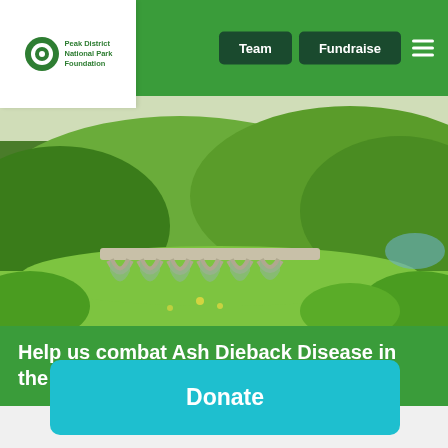Peak District National Park Foundation — Team | Fundraise
[Figure (photo): Aerial view of a green rolling valley in the Peak District with a stone viaduct arch bridge in the foreground and forested hills in the background]
Help us combat Ash Dieback Disease in the Peak District National Park
[Figure (other): Partial green circular icon/badge at top of donate section]
Donate